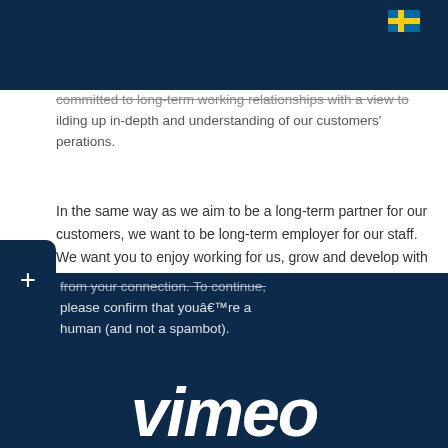[Figure (logo): Tooltec company logo with navigation pill on dark navy header bar, Swedish flag icon top right, hamburger menu icon]
committed to long-term working relationships with a view to building up in-depth and understanding of our customers' operations.
In the same way as we aim to be a long-term partner for our customers, we want to be long-term employer for our staff. We want you to enjoy working for us, grow and develop with us – and, ideally, stay with us for years.
[Figure (screenshot): Vimeo CAPTCHA overlay on dark navy background with text: 'from your connection. To continue, please confirm that youâ€™re a human (and not a spambot).' and large Vimeo logo in white italic text at bottom.]